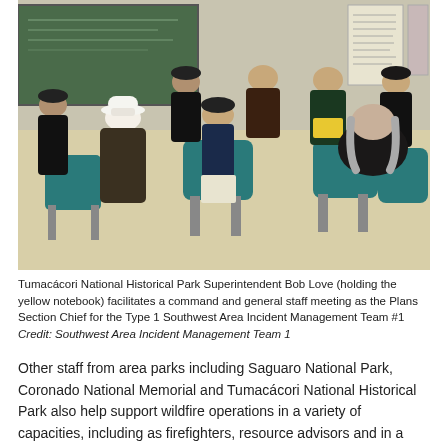[Figure (photo): Group of people sitting in a circle of teal chairs in a classroom or meeting room. They appear to be park service staff and incident management personnel in a command and general staff meeting. A chalkboard and posted papers are visible on the wall. One person wearing a white cowboy hat holds a yellow notebook.]
Tumacácori National Historical Park Superintendent Bob Love (holding the yellow notebook) facilitates a command and general staff meeting as the Plans Section Chief for the Type 1 Southwest Area Incident Management Team #1
Credit: Southwest Area Incident Management Team 1
Other staff from area parks including Saguaro National Park, Coronado National Memorial and Tumacácori National Historical Park also help support wildfire operations in a variety of capacities, including as firefighters, resource advisors and in a variety of positions on local and regional incident management teams including